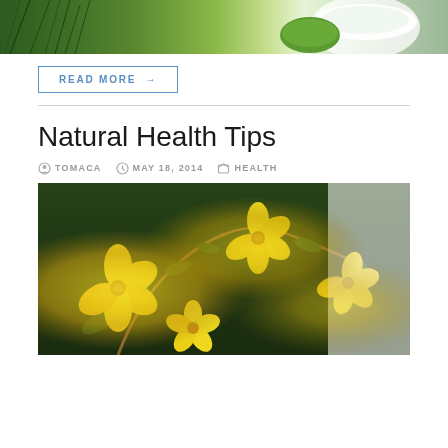[Figure (photo): Top portion of a photo showing green pine needles and a white cream/coconut product on a light background]
READ MORE →
Natural Health Tips
TOMACA   MAY 18, 2014   HEALTH
[Figure (photo): Close-up photo of bright yellow flowers (evening primrose or similar) with green leaves on branches against a white background]